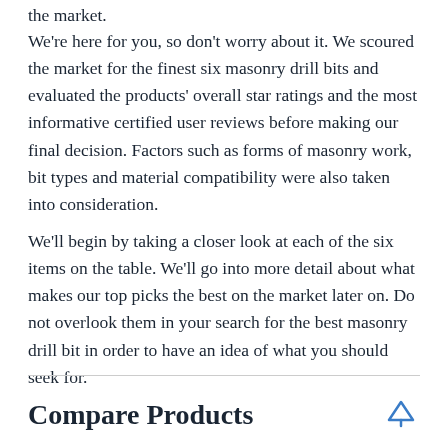the market.
We're here for you, so don't worry about it. We scoured the market for the finest six masonry drill bits and evaluated the products' overall star ratings and the most informative certified user reviews before making our final decision. Factors such as forms of masonry work, bit types and material compatibility were also taken into consideration.
We'll begin by taking a closer look at each of the six items on the table. We'll go into more detail about what makes our top picks the best on the market later on. Do not overlook them in your search for the best masonry drill bit in order to have an idea of what you should seek for.
Compare Products